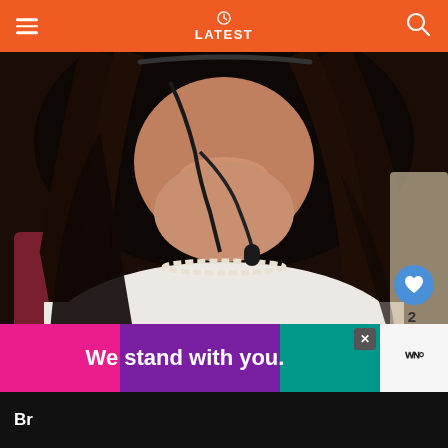LATEST
[Figure (photo): Woman with dark hair wearing a headset microphone and pearl necklace, dressed in a white top, seated in a chair. Close-up selfie-style image.]
Source: Instagram
WHAT'S NEXT → Scott Kolanach:...
Br...
We stand with you.